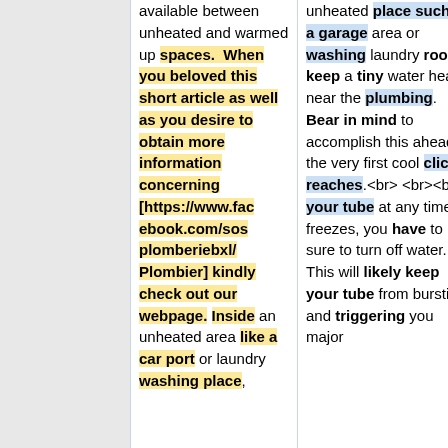available between unheated and warmed up spaces. When you beloved this short article as well as you desire to obtain more information concerning [https://www.facebook.com/sosplomberiebxl/Plombier] kindly check out our webpage. Inside an unheated area like a car port or laundry washing place,
unheated place such as a garage area or washing laundry room, keep a tiny water heater near the plumbing. Bear in mind to accomplish this ahead of the very first cool click reaches.<br><br>If your tube at any time freezes, you have to be sure to turn off water. This will likely keep your tube from bursting and triggering you major